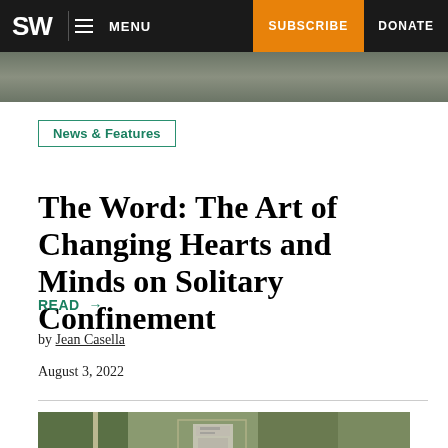SW | MENU | SUBSCRIBE | DONATE
[Figure (photo): Top partial aerial or landscape photo strip]
News & Features
The Word: The Art of Changing Hearts and Minds on Solitary Confinement
READ →
by Jean Casella
August 3, 2022
[Figure (photo): Aerial satellite view of a rural prison facility with road and grounds visible]